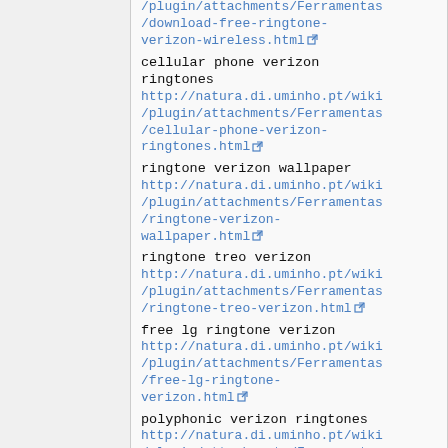cellular phone verizon ringtones
http://natura.di.uminho.pt/wiki/plugin/attachments/Ferramentas/cellular-phone-verizon-ringtones.html
ringtone verizon wallpaper
http://natura.di.uminho.pt/wiki/plugin/attachments/Ferramentas/ringtone-verizon-wallpaper.html
ringtone treo verizon
http://natura.di.uminho.pt/wiki/plugin/attachments/Ferramentas/ringtone-treo-verizon.html
free lg ringtone verizon
http://natura.di.uminho.pt/wiki/plugin/attachments/Ferramentas/free-lg-ringtone-verizon.html
polyphonic verizon ringtones
http://natura.di.uminho.pt/wiki/plugin/attachments/Ferramentas/polyphonic-verizon-ringtones.html
cellular phone verizon